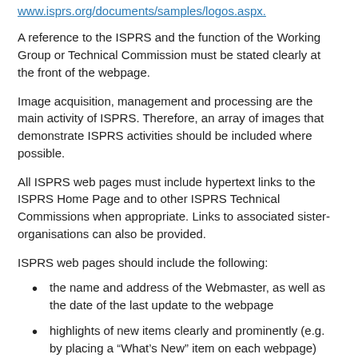www.isprs.org/documents/samples/logos.aspx.
A reference to the ISPRS and the function of the Working Group or Technical Commission must be stated clearly at the front of the webpage.
Image acquisition, management and processing are the main activity of ISPRS. Therefore, an array of images that demonstrate ISPRS activities should be included where possible.
All ISPRS web pages must include hypertext links to the ISPRS Home Page and to other ISPRS Technical Commissions when appropriate. Links to associated sister- organisations can also be provided.
ISPRS web pages should include the following:
the name and address of the Webmaster, as well as the date of the last update to the webpage
highlights of new items clearly and prominently (e.g. by placing a “What’s New” item on each webpage)